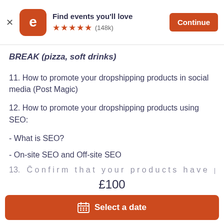Find events you'll love ★★★★★ (148k) Continue
BREAK (pizza, soft drinks)
11. How to promote your dropshipping products in social media (Post Magic)
12. How to promote your dropshipping products using SEO:
- What is SEO?
- On-site SEO and Off-site SEO
£100
Select a date